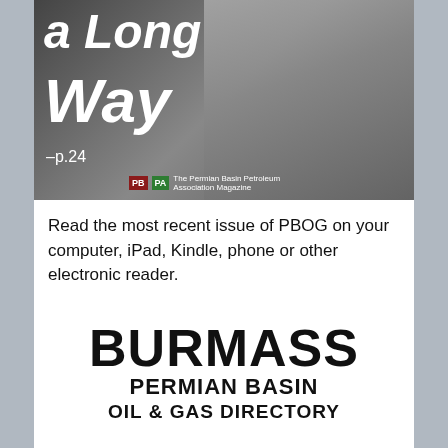[Figure (photo): Magazine cover with text 'a Long Way' in large italic white bold font, with page reference '–p.24', a black-and-white photo of a person, and PBPA logo at bottom. The Permian Basin Petroleum Association Magazine.]
Read the most recent issue of PBOG on your computer, iPad, Kindle, phone or other electronic reader.
If you'd like to view our previous issues, click here.
[Figure (logo): BURMASS PERMIAN BASIN OIL & GAS DIRECTORY logo in large bold black text on white background]